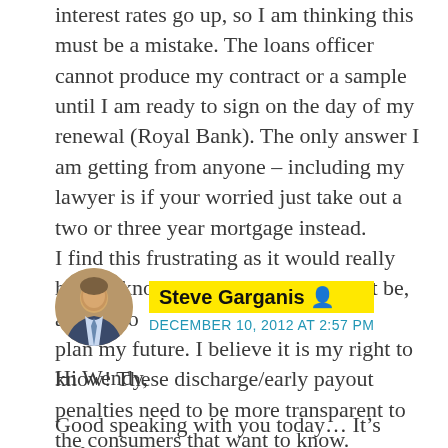interest rates go up, so I am thinking this must be a mistake. The loans officer cannot produce my contract or a sample until I am ready to sign on the day of my renewal (Royal Bank). The only answer I am getting from anyone – including my lawyer is if your worried just take out a two or three year mortgage instead.
I find this frustrating as it would really help to know what the penalty might be, as I try to
plan my future. I believe it is my right to know! These discharge/early payout penalties need to be more transparent to the consumers that want to know.
Do you have any advice?
[Figure (photo): Circular avatar photo of Steve Garganis, a man in a suit]
Steve Garganis
DECEMBER 10, 2012 AT 2:57 PM
Hi Wendy,
Good speaking with you today… It's unfortunate your RBC rep couldn't give you a more satisfactory answer. I think if…